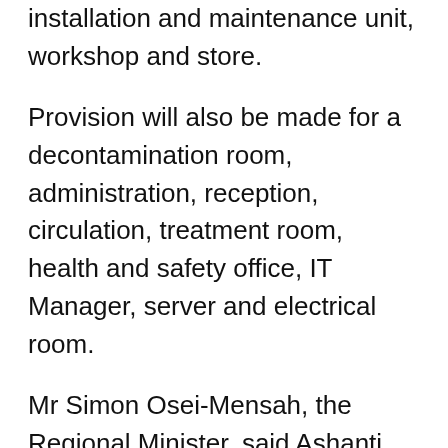installation and maintenance unit, workshop and store.
Provision will also be made for a decontamination room, administration, reception, circulation, treatment room, health and safety office, IT Manager, server and electrical room.
Mr Simon Osei-Mensah, the Regional Minister, said Ashanti had seen its road networks improve significantly under the Nana Akufo-Addo-led Administration.
He appealed to the people to keep faith in the government since the leadership was working assiduously to uplift the living conditions of the